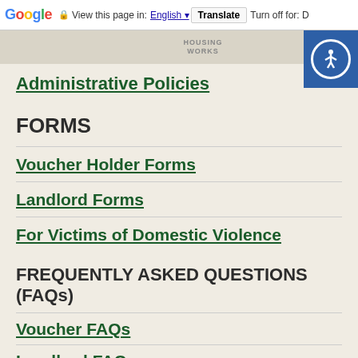Google Translate bar — View this page in: English | Translate | Turn off for: D
[Figure (logo): HOUSING WORKS logo in header band]
Administrative Policies
FORMS
Voucher Holder Forms
Landlord Forms
For Victims of Domestic Violence
FREQUENTLY ASKED QUESTIONS (FAQs)
Voucher FAQs
Landlord FAQs